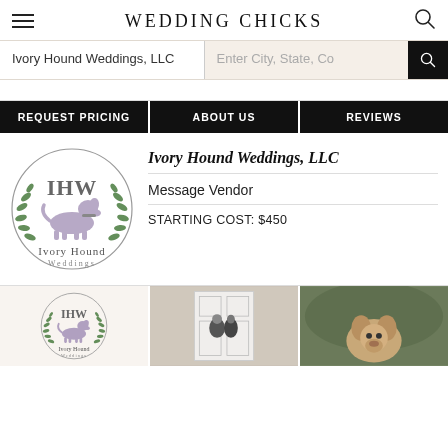WEDDING CHICKS
Ivory Hound Weddings, LLC
Enter City, State, Co
REQUEST PRICING
ABOUT US
REVIEWS
[Figure (logo): Ivory Hound Weddings LLC circular logo with IHW text and dog illustration and laurel wreath]
Ivory Hound Weddings, LLC
Message Vendor
STARTING COST: $450
[Figure (photo): Bottom row of three images: IHW logo, couple kissing at white door, golden doodle dog closeup]